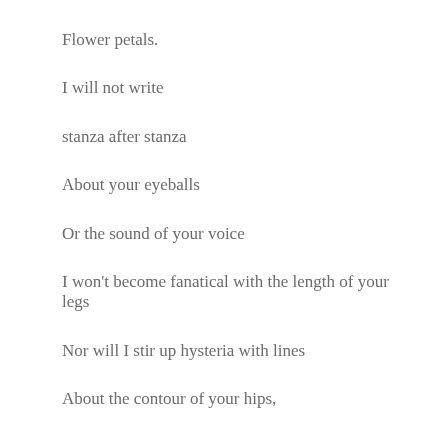Flower petals.
I will not write
stanza after stanza
About your eyeballs
Or the sound of your voice
I won't become fanatical with the length of your legs
Nor will I stir up hysteria with lines
About the contour of your hips,